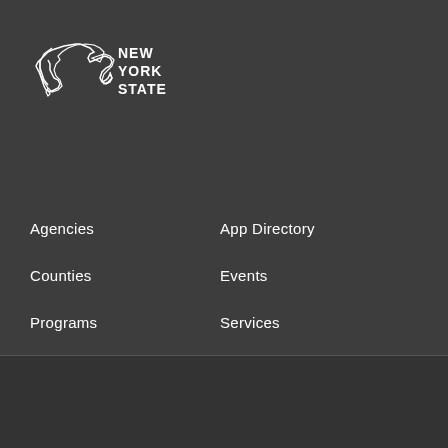[Figure (logo): New York State logo — outline map of NY state with text NEW YORK STATE in white]
Agencies
App Directory
Counties
Events
Programs
Services
Translation Services
This page is available in other languages